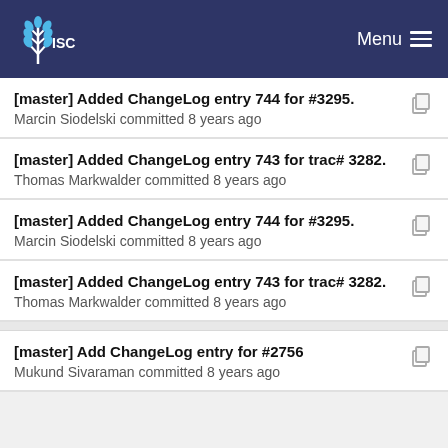Menu
[master] Added ChangeLog entry 744 for #3295.
Marcin Siodelski committed 8 years ago
[master] Added ChangeLog entry 743 for trac# 3282.
Thomas Markwalder committed 8 years ago
[master] Added ChangeLog entry 744 for #3295.
Marcin Siodelski committed 8 years ago
[master] Added ChangeLog entry 743 for trac# 3282.
Thomas Markwalder committed 8 years ago
[master] Add ChangeLog entry for #2756
Mukund Sivaraman committed 8 years ago
[master] Reformat last ChangeLog entry